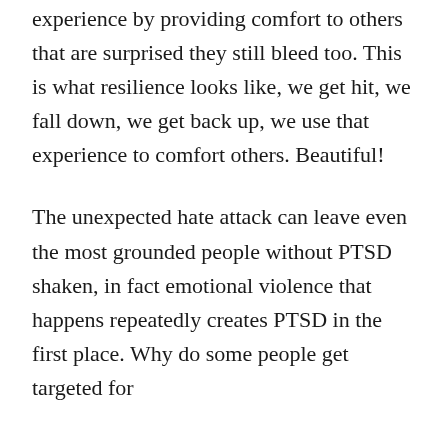experience by providing comfort to others that are surprised they still bleed too. This is what resilience looks like, we get hit, we fall down, we get back up, we use that experience to comfort others. Beautiful!
The unexpected hate attack can leave even the most grounded people without PTSD shaken, in fact emotional violence that happens repeatedly creates PTSD in the first place. Why do some people get targeted for